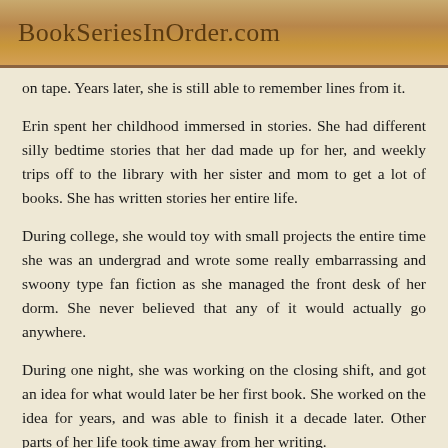BookSeriesInOrder.com
on tape. Years later, she is still able to remember lines from it.
Erin spent her childhood immersed in stories. She had different silly bedtime stories that her dad made up for her, and weekly trips off to the library with her sister and mom to get a lot of books. She has written stories her entire life.
During college, she would toy with small projects the entire time she was an undergrad and wrote some really embarrassing and swoony type fan fiction as she managed the front desk of her dorm. She never believed that any of it would actually go anywhere.
During one night, she was working on the closing shift, and got an idea for what would later be her first book. She worked on the idea for years, and was able to finish it a decade later. Other parts of her life took time away from her writing.
It wasn't until she was home with her newborn child, and